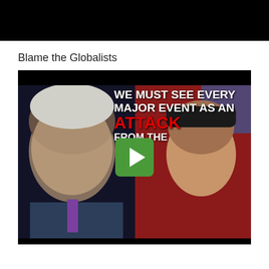[Figure (screenshot): Black bar at top of page, appears to be a cropped video or webpage header]
Blame the Globalists
[Figure (screenshot): YouTube video thumbnail for JD Rucker Show. Shows two men's faces with overlay text: 'WE MUST SEE EVERY MAJOR EVENT AS AN ATTACK FROM THE GLOBALIST ELITES'. Green YouTube play button in center. JD Rucker Show logo in bottom right.]